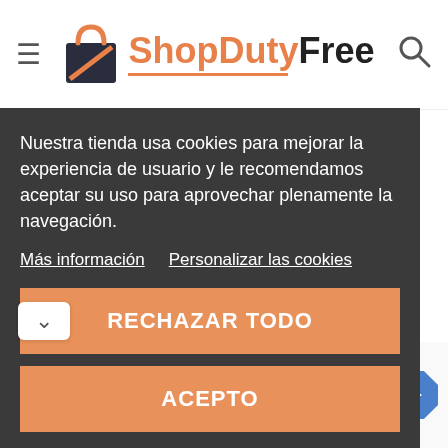[Figure (logo): ShopDutyFree logo with shopping bag icon, orange and dark text, orange underline. Hamburger menu icon on left, search icon on right.]
Nuestra tienda usa cookies para mejorar la experiencia de usuario y le recomendamos aceptar su uso para aprovechar plenamente la navegación.
Más información   Personalizar las cookies
RECHAZAR TODO
ACEPTO
[Figure (screenshot): Cookie consent dialog on ShopDutyFree website with dark background, two buttons: RECHAZAR TODO and ACEPTO]
[Figure (infographic): Taco Bell ad banner showing Dine-in (checkmark), Drive-through (checkmark), Delivery (X mark), with Taco Bell logo and navigation arrow icon]